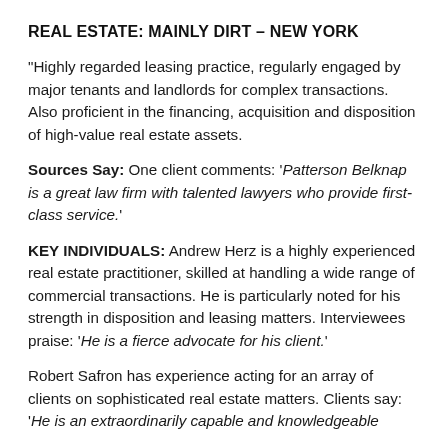REAL ESTATE: MAINLY DIRT – NEW YORK
"Highly regarded leasing practice, regularly engaged by major tenants and landlords for complex transactions. Also proficient in the financing, acquisition and disposition of high-value real estate assets.
Sources Say: One client comments: 'Patterson Belknap is a great law firm with talented lawyers who provide first-class service.'
KEY INDIVIDUALS: Andrew Herz is a highly experienced real estate practitioner, skilled at handling a wide range of commercial transactions. He is particularly noted for his strength in disposition and leasing matters. Interviewees praise: 'He is a fierce advocate for his client.'
Robert Safron has experience acting for an array of clients on sophisticated real estate matters. Clients say: 'He is an extraordinarily capable and knowledgeable